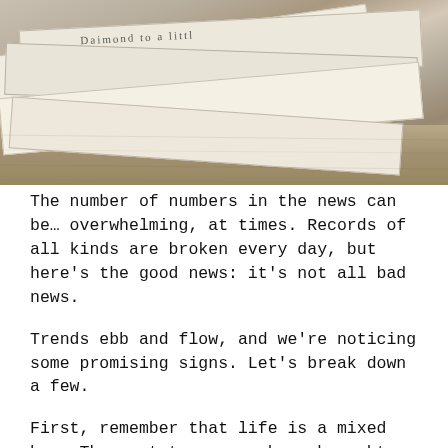[Figure (photo): A stack of folded newspapers piled on a wooden surface, viewed from above at an angle. The newspapers are folded and stacked in multiple layers.]
The number of numbers in the news can be… overwhelming, at times. Records of all kinds are broken every day, but here's the good news: it's not all bad news.
Trends ebb and flow, and we're noticing some promising signs. Let's break down a few.
First, remember that life is a mixed bag. The past two years have brought considerable heartbreak and stress, but any change also tends to make way for new growth.
Anecdotally, we've been heartened by the number